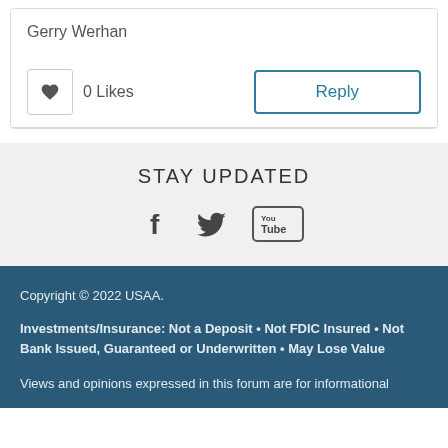Gerry Werhan
0 Likes
Reply
STAY UPDATED
[Figure (infographic): Social media icons: Facebook, Twitter, YouTube]
Copyright © 2022 USAA.
Investments/Insurance: Not a Deposit • Not FDIC Insured • Not Bank Issued, Guaranteed or Underwritten • May Lose Value
Views and opinions expressed in this forum are for informational